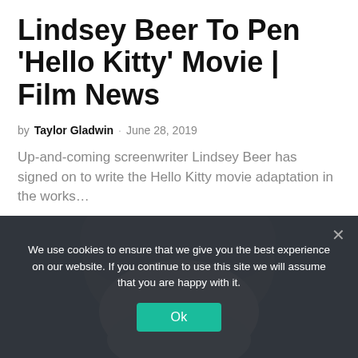Lindsey Beer To Pen 'Hello Kitty' Movie | Film News
by Taylor Gladwin · June 28, 2019
Up-and-coming screenwriter Lindsey Beer has signed on to write the Hello Kitty movie adaptation in the works...
[Figure (photo): Top of a person's head with brown hair against a dark background]
We use cookies to ensure that we give you the best experience on our website. If you continue to use this site we will assume that you are happy with it.